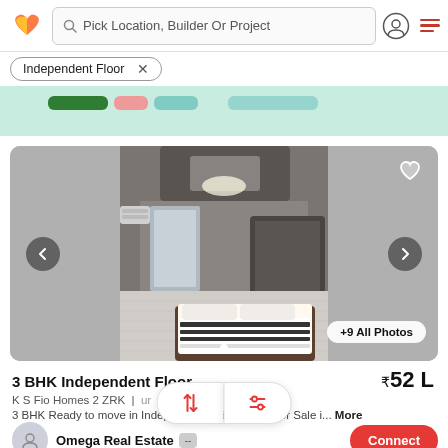Pick Location, Builder Or Project
Independent Floor ×
[Figure (screenshot): Real estate listing card showing a bedroom interior photo with carousel navigation. Shows 3 BHK Independent Floor property.]
+9 All Photos
3 BHK Independent Floor
₹52 L
K S Fio Homes 2 ZRK | ... ur
3 BHK Ready to move in Independent Builder Floor for Sale i... More
Omega Real Estate
Connect